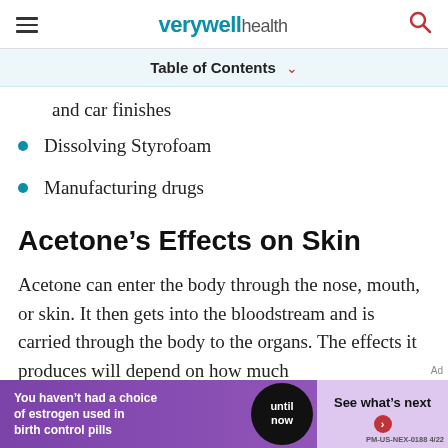verywell health
Table of Contents ∨
and car finishes
Dissolving Styrofoam
Manufacturing drugs
Acetone's Effects on Skin
Acetone can enter the body through the nose, mouth, or skin. It then gets into the bloodstream and is carried through the body to the organs. The effects it produces will depend on how much
Ad
You haven't had a choice of estrogen used in birth control pills until now See what's next PM-US-NEX-0188 4/22